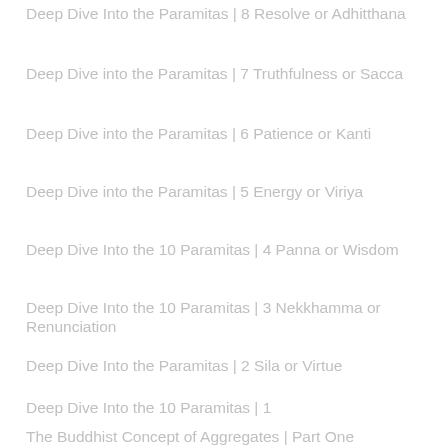Deep Dive Into the Paramitas | 8 Resolve or Adhitthana
Deep Dive into the Paramitas | 7 Truthfulness or Sacca
Deep Dive into the Paramitas | 6 Patience or Kanti
Deep Dive into the Paramitas | 5 Energy or Viriya
Deep Dive Into the 10 Paramitas | 4 Panna or Wisdom
Deep Dive Into the 10 Paramitas | 3 Nekkhamma or Renunciation
Deep Dive Into the Paramitas | 2 Sila or Virtue
Deep Dive Into the 10 Paramitas | 1
The Buddhist Concept of Aggregates | Part One